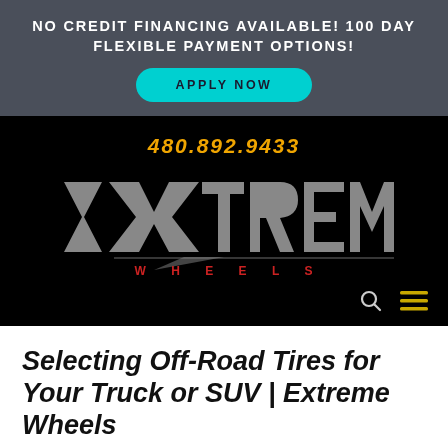NO CREDIT FINANCING AVAILABLE! 100 DAY FLEXIBLE PAYMENT OPTIONS!
APPLY NOW
[Figure (logo): Extreme Wheels logo with phone number 480.892.9433 on black background, stylized EXTREME text in grey with WHEELS in red letters below]
Selecting Off-Road Tires for Your Truck or SUV | Extreme Wheels
by Extreme Wheels | Oct 18, 2019 | Fuel Offroad,